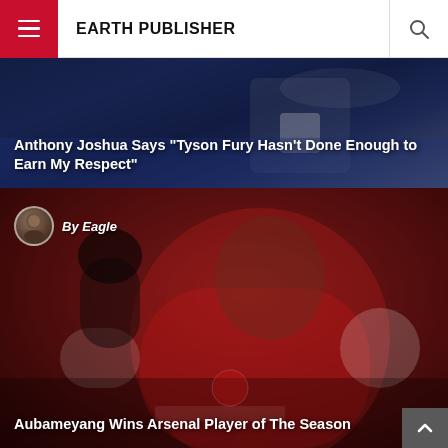EARTH PUBLISHER
[Figure (photo): Anthony Joshua boxing article hero image with arena/ring background]
Anthony Joshua Says “Tyson Fury Hasn’t Done Enough to Earn My Respect”
[Figure (photo): Aubameyang in Arsenal red jersey celebrating, red dark background. By Eagle author.]
Aubameyang Wins Arsenal Player of The Season